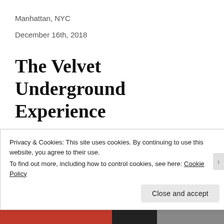Manhattan, NYC
December 16th, 2018
The Velvet Underground Experience
August 11, 2020
The Humble Fabulist
Privacy & Cookies: This site uses cookies. By continuing to use this website, you agree to their use.
To find out more, including how to control cookies, see here: Cookie Policy
Close and accept